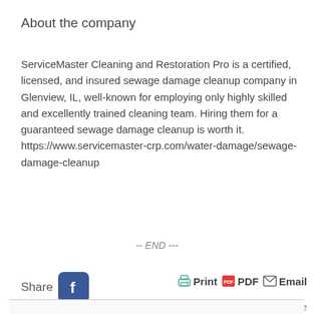About the company
ServiceMaster Cleaning and Restoration Pro is a certified, licensed, and insured sewage damage cleanup company in Glenview, IL, well-known for employing only highly skilled and excellently trained cleaning team. Hiring them for a guaranteed sewage damage cleanup is worth it. https://www.servicemaster-crp.com/water-damage/sewage-damage-cleanup
-- END ---
Share  Print  PDF  Email  Disclaimer  Report Abuse